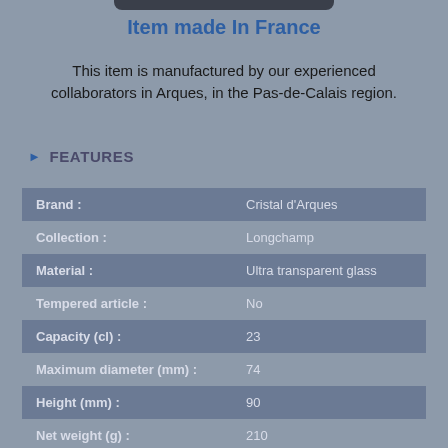Item made In France
This item is manufactured by our experienced collaborators in Arques, in the Pas-de-Calais region.
FEATURES
|  |  |
| --- | --- |
| Brand : | Cristal d'Arques |
| Collection : | Longchamp |
| Material : | Ultra transparent glass |
| Tempered article : | No |
| Capacity (cl) : | 23 |
| Maximum diameter (mm) : | 74 |
| Height (mm) : | 90 |
| Net weight (g) : | 210 |
| Color : | Transparent |
| Aspect : | Glossy |